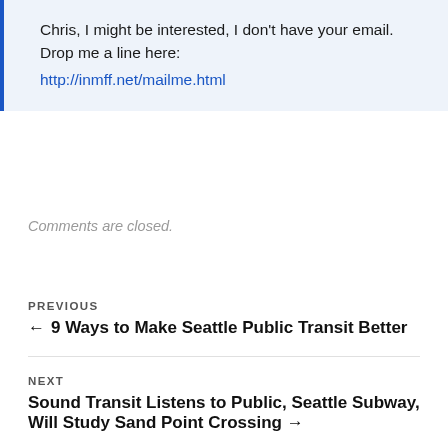Chris, I might be interested, I don't have your email. Drop me a line here: http://inmff.net/mailme.html
Comments are closed.
PREVIOUS
← 9 Ways to Make Seattle Public Transit Better
NEXT
Sound Transit Listens to Public, Seattle Subway, Will Study Sand Point Crossing →